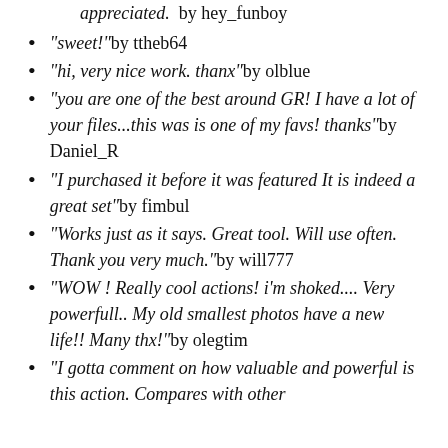"appreciated." by hey_funboy (partial, top of page)
"sweet!" by ttheb64
"hi, very nice work. thanx" by olblue
"you are one of the best around GR! I have a lot of your files...this was is one of my favs! thanks" by Daniel_R
"I purchased it before it was featured It is indeed a great set" by fimbul
"Works just as it says. Great tool. Will use often. Thank you very much." by will777
"WOW ! Really cool actions! i'm shoked.... Very powerfull.. My old smallest photos have a new life!! Many thx!" by olegtim
"I gotta comment on how valuable and powerful is this action. Compares with other... (partial)